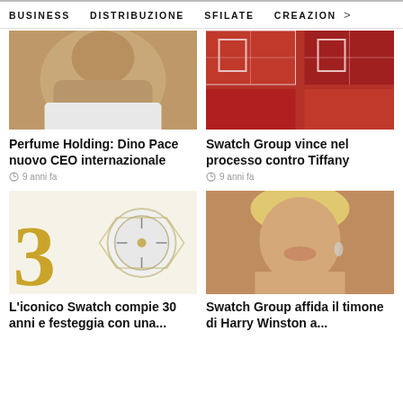BUSINESS   DISTRIBUZIONE   SFILATE   CREAZION >
[Figure (photo): Portrait photo of a man, upper body, light background]
[Figure (photo): Red decorative background image with patterns]
Perfume Holding: Dino Pace nuovo CEO internazionale
9 anni fa
Swatch Group vince nel processo contro Tiffany
9 anni fa
[Figure (photo): Luxury watch image with large gold number 3 and ornate timepiece]
[Figure (photo): Portrait photo of a smiling blonde woman]
L'iconico Swatch compie 30 anni e festeggia con una...
Swatch Group affida il timone di Harry Winston a...